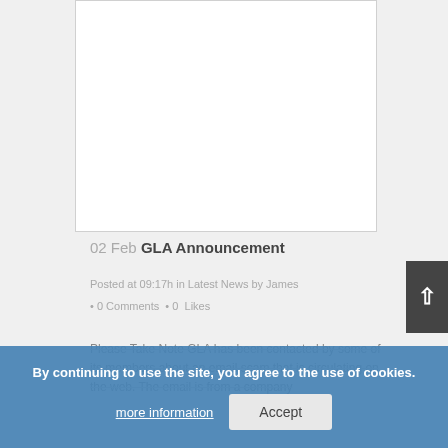[Figure (photo): White rectangular image placeholder area]
02 Feb GLA Announcement
Posted at 09:17h in Latest News by James
• 0 Comments • 0  Likes
Please Take Note GLA has been contacted by some of its members about an email scam that is circulating on the web. The email is from a company
By continuing to use the site, you agree to the use of cookies.
more information
Accept